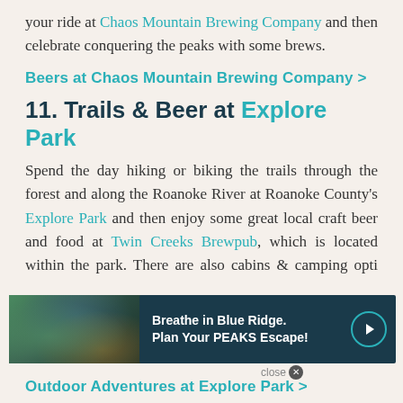your ride at Chaos Mountain Brewing Company and then celebrate conquering the peaks with some brews.
Beers at Chaos Mountain Brewing Company >
11. Trails & Beer at Explore Park
Spend the day hiking or biking the trails through the forest and along the Roanoke River at Roanoke County's Explore Park and then enjoy some great local craft beer and food at Twin Creeks Brewpub, which is located within the park. There are also cabins & camping opti...
[Figure (infographic): Advertisement banner: dark navy background with text 'Breathe in Blue Ridge. Plan Your PEAKS Escape!' with a circular arrow icon on the right, and a photo of a forested path on the left.]
Outdoor Adventures at Explore Park >